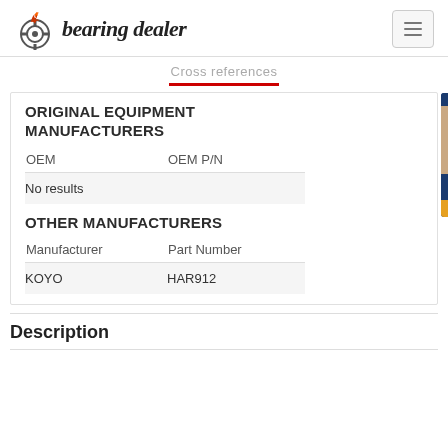[Figure (logo): Bearing Dealer logo with flaming gear icon and italic text 'bearing dealer']
Cross references
ORIGINAL EQUIPMENT MANUFACTURERS
| OEM | OEM P/N |
| --- | --- |
| No results |  |
OTHER MANUFACTURERS
| Manufacturer | Part Number |
| --- | --- |
| KOYO | HAR912 |
Description